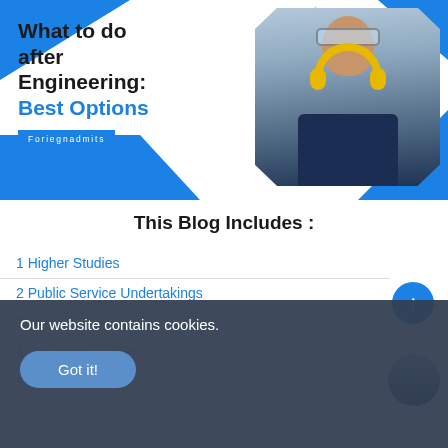[Figure (illustration): Blog banner image with blue and white geometric shapes, yellow star, and photo of a young man wearing safety goggles and yellow ear protection headphones over a blue jacket. Text overlaid on left side.]
What to do after Engineering: Best Options
Foriegnadmits
This Blog Includes :
1 Higher Studies
2 Public Service Undertakings
3 M...
4 Entrepreneurship
5 Civil Services
Our website contains cookies.
Got it!